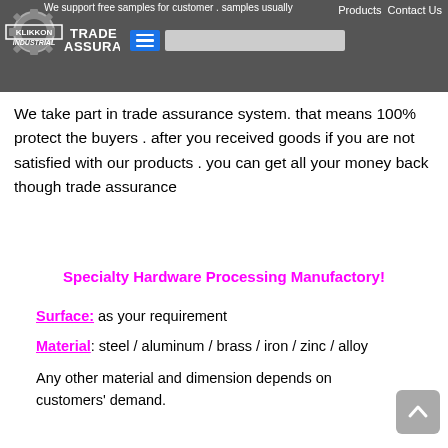We support free samples for customer . samples usually transfer by FedEx or DHL | Products  Contact Us
TRADE ASSURANCE
We take part in trade assurance system. that means 100% protect the buyers . after you received goods if you are not satisfied with our products . you can get all your money back though trade assurance
Specialty Hardware Processing Manufactory!
Surface: as your requirement
Material: steel / aluminum / brass / iron / zinc / alloy
Any other material and dimension depends on customers' demand.